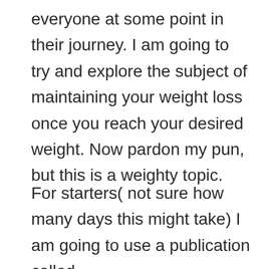everyone at some point in their journey. I am going to try and explore the subject of maintaining your weight loss once you reach your desired weight. Now pardon my pun, but this is a weighty topic.
For starters( not sure how many days this might take) I am going to use a publication called